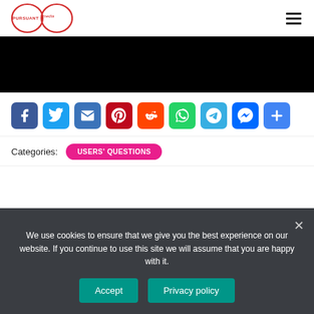[Figure (logo): Pursuant Media logo — infinity-loop shape with 'PURSUANT media' text inside]
[Figure (photo): Black rectangular image area (video or image placeholder)]
[Figure (infographic): Row of social share icons: Facebook, Twitter, Email, Pinterest, Reddit, WhatsApp, Telegram, Messenger, Share]
Categories: USERS' QUESTIONS
We use cookies to ensure that we give you the best experience on our website. If you continue to use this site we will assume that you are happy with it.